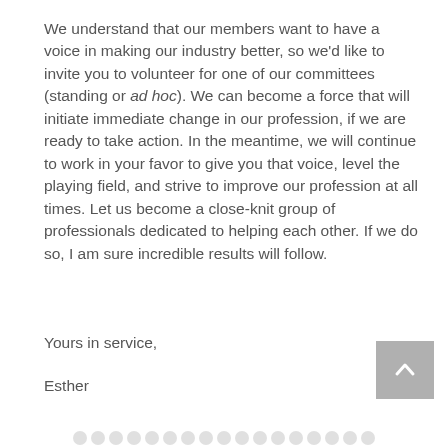We understand that our members want to have a voice in making our industry better, so we'd like to invite you to volunteer for one of our committees (standing or ad hoc). We can become a force that will initiate immediate change in our profession, if we are ready to take action. In the meantime, we will continue to work in your favor to give you that voice, level the playing field, and strive to improve our profession at all times. Let us become a close-knit group of professionals dedicated to helping each other. If we do so, I am sure incredible results will follow.
Yours in service,
Esther